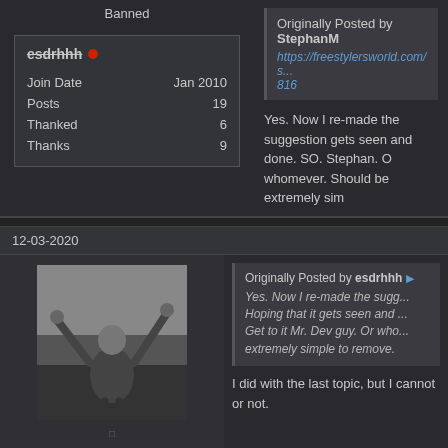Banned
esdrhhh
| Join Date | Jan 2010 |
| Posts | 19 |
| Thanked | 6 |
| Thanks | 9 |
Originally Posted by StephanM
https://freestylersworld.com/s...816
Yes. Now I re-made the suggestion gets seen and done. SO. Stephan. O whomever. Should be extremely sim
12-03-2020
[Figure (photo): Black and white photo of a person with arms raised in a victory/peace pose outdoors]
Originally Posted by esdrhhh
Yes. Now I re-made the sugg... Hoping that it gets seen and ... Get to it Mr. Dev guy. Or who... extremely simple to remove.
I did with the last topic, but I cannot or not.